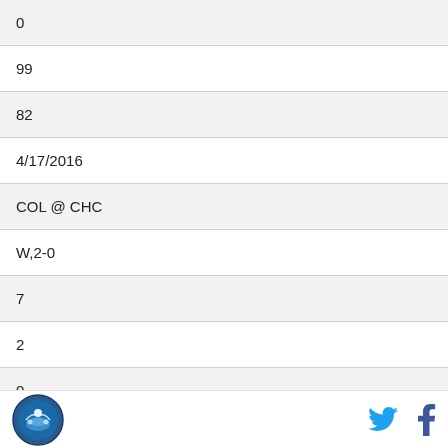| 0 |
| 99 |
| 82 |
| 4/17/2016 |
| COL @ CHC |
| W,2-0 |
| 7 |
| 2 |
| 0 |
| 0 |
| 1 |
Logo | Twitter | Facebook